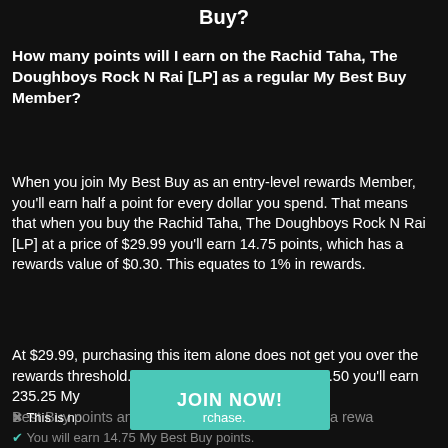Buy?
How many points will I earn on the Rachid Taha, The Doughboys Rock N Rai [LP] as a regular My Best Buy Member?
When you join My Best Buy as an entry-level rewards Member, you'll earn half a point for every dollar you spend. That means that when you buy the Rachid Taha, The Doughboys Rock N Rai [LP] at a price of $29.99 you'll earn 14.75 points, which has a rewards value of $0.30. This equates to 1% in rewards.
At $29.99, purchasing this item alone does not get you over the rewards threshold. But if you spend another $470.50 you'll earn 235.25 My Best Buy points and you'll immediately qualify for a rewa...
JOIN NOW!
✖ This is no... ...chase.
✔ You will earn 14.75 My Best Buy points.